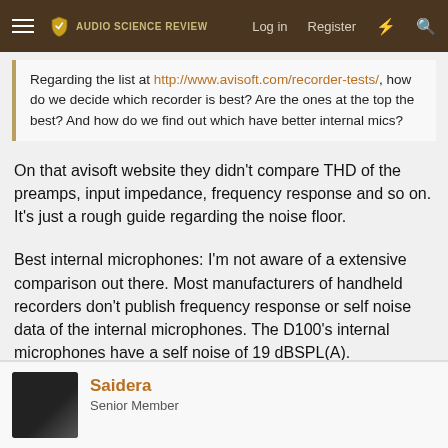Audio Science Review — Log in  Register
Regarding the list at http://www.avisoft.com/recorder-tests/, how do we decide which recorder is best? Are the ones at the top the best? And how do we find out which have better internal mics?
On that avisoft website they didn't compare THD of the preamps, input impedance, frequency response and so on. It's just a rough guide regarding the noise floor.
Best internal microphones: I'm not aware of a extensive comparison out there. Most manufacturers of handheld recorders don't publish frequency response or self noise data of the internal microphones. The D100's internal microphones have a self noise of 19 dBSPL(A).
Last edited: Apr 28, 2022
👍 Saidera
Saidera
Senior Member